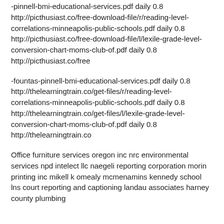-pinnell-bmi-educational-services.pdf daily 0.8 http://picthusiast.co/free-download-file/r/reading-level-correlations-minneapolis-public-schools.pdf daily 0.8 http://picthusiast.co/free-download-file/l/lexile-grade-level-conversion-chart-moms-club-of.pdf daily 0.8 http://picthusiast.co/free
-fountas-pinnell-bmi-educational-services.pdf daily 0.8 http://thelearningtrain.co/get-files/r/reading-level-correlations-minneapolis-public-schools.pdf daily 0.8 http://thelearningtrain.co/get-files/l/lexile-grade-level-conversion-chart-moms-club-of.pdf daily 0.8 http://thelearningtrain.co
Office furniture services oregon inc nrc environmental services npd intelect llc naegeli reporting corporation morin printing inc mikell k omealy mcmenamins kennedy school lns court reporting and captioning landau associates harney county plumbing